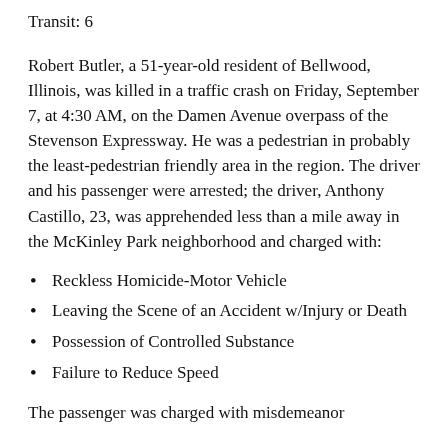Transit: 6
Robert Butler, a 51-year-old resident of Bellwood, Illinois, was killed in a traffic crash on Friday, September 7, at 4:30 AM, on the Damen Avenue overpass of the Stevenson Expressway. He was a pedestrian in probably the least-pedestrian friendly area in the region. The driver and his passenger were arrested; the driver, Anthony Castillo, 23, was apprehended less than a mile away in the McKinley Park neighborhood and charged with:
Reckless Homicide-Motor Vehicle
Leaving the Scene of an Accident w/Injury or Death
Possession of Controlled Substance
Failure to Reduce Speed
The passenger was charged with misdemeanor